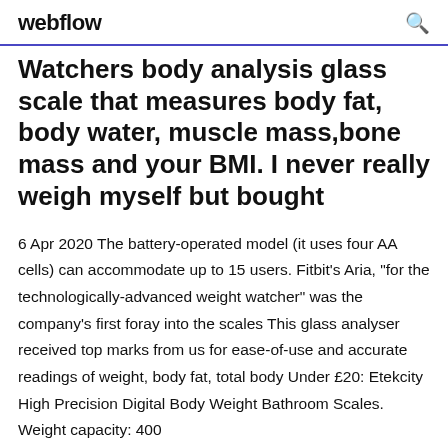webflow
Watchers body analysis glass scale that measures body fat, body water, muscle mass,bone mass and your BMI. I never really weigh myself but bought
6 Apr 2020 The battery-operated model (it uses four AA cells) can accommodate up to 15 users. Fitbit's Aria, "for the technologically-advanced weight watcher" was the company's first foray into the scales This glass analyser received top marks from us for ease-of-use and accurate readings of weight, body fat, total body Under £20: Etekcity High Precision Digital Body Weight Bathroom Scales. Weight capacity: 400